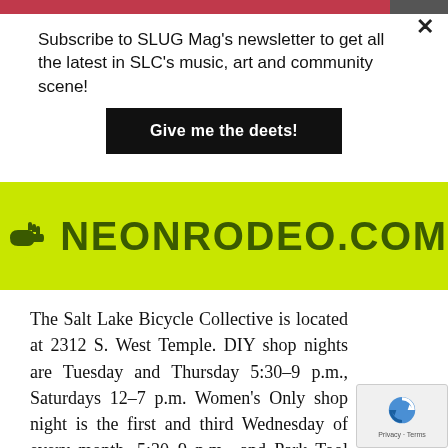Subscribe to SLUG Mag's newsletter to get all the latest in SLC's music, art and community scene!
[Figure (other): Black button labeled 'Give me the deets!']
[Figure (other): Neon yellow banner with hand/pointing icon and text NEONRODEO.COM in dark olive green bold font]
The Salt Lake Bicycle Collective is located at 2312 S. West Temple. DIY shop nights are Tuesday and Thursday 5:30–9 p.m., Saturdays 12–7 p.m. Women's Only shop night is the first and third Wednesday of every month, 5:30–9 p.m., and Park Tool School classes are taught Mondays from 5:30–8 p. For information on the 4–6 week Kids Ear Bike Course, contact Hailey Broussard